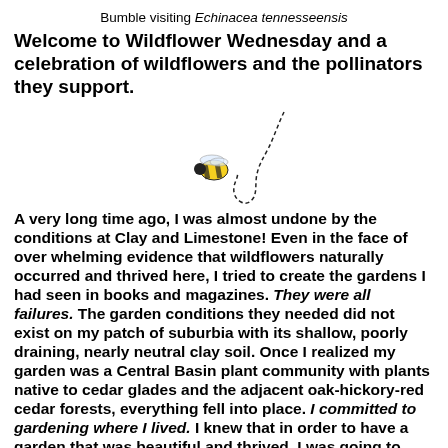Bumble visiting Echinacea tennesseensis
Welcome to Wildflower Wednesday and a celebration of wildflowers and the pollinators they support.
[Figure (illustration): Illustration of a bumblebee with a dashed curved flight path trail]
A very long time ago, I was almost undone by the conditions at Clay and Limestone! Even in the face of over whelming evidence that wildflowers naturally occurred and thrived here, I tried to create the gardens I had seen in books and magazines. They were all failures. The garden conditions they needed did not exist on my patch of suburbia with its shallow, poorly draining, nearly neutral clay soil. Once I realized my garden was a Central Basin plant community with plants native to cedar glades and the adjacent oak-hickory-red cedar forests, everything fell into place. I committed to gardening where I lived. I knew that in order to have a garden that was beautiful and thrived, I was going to